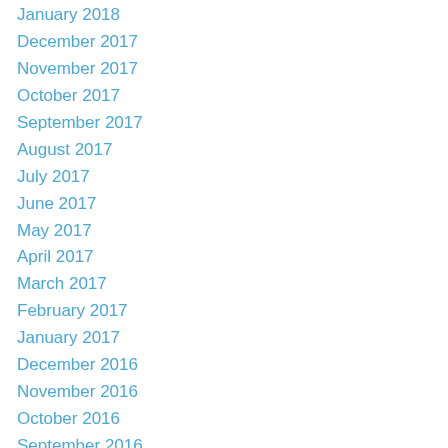January 2018
December 2017
November 2017
October 2017
September 2017
August 2017
July 2017
June 2017
May 2017
April 2017
March 2017
February 2017
January 2017
December 2016
November 2016
October 2016
September 2016
July 2016
June 2016
May 2016